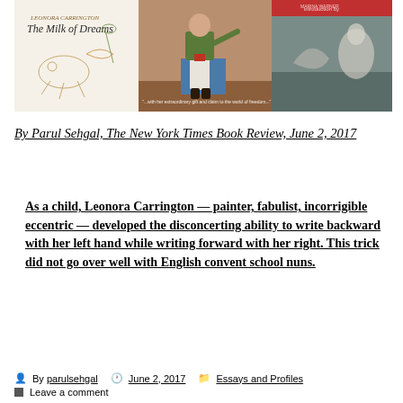[Figure (illustration): Three book covers side by side: left is Leonora Carrington 'The Milk of Dreams' (white/illustrated cover), middle shows a painted figure seated on a blue trunk (green jacket, white pants), right is a darker cover with a figure and text 'introduction by Marina Warner'.]
By Parul Sehgal, The New York Times Book Review, June 2, 2017
As a child, Leonora Carrington — painter, fabulist, incorrigible eccentric — developed the disconcerting ability to write backward with her left hand while writing forward with her right. This trick did not go over well with English convent school nuns.
By parulsehgal   June 2, 2017   Essays and Profiles   Leave a comment